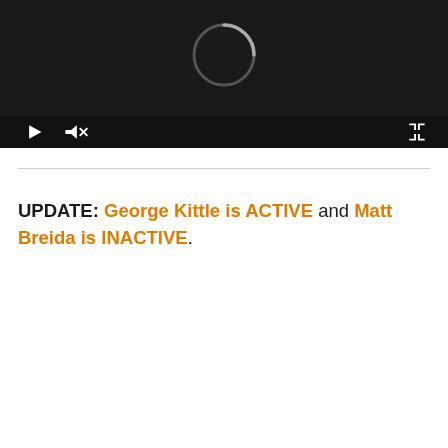[Figure (screenshot): Video player with dark background showing a loading spinner (circular arc) on the screen, and a control bar at the bottom with play button, mute/unmute icon, and fullscreen button.]
UPDATE: George Kittle is ACTIVE and Matt Breida is INACTIVE.